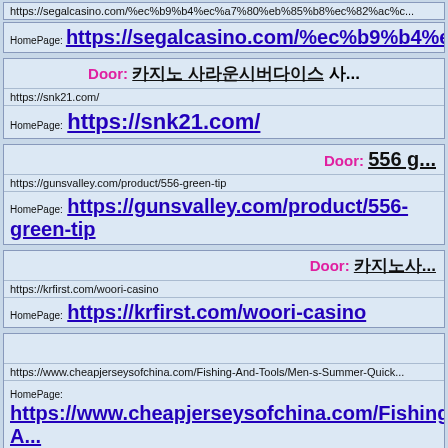https://segalcasino.com/%ec%b9%b4%ec%a7%80%eb%85%b8%ec%82%ac%c...
HomePage: https://segalcasino.com/%ec%b9%b4%ec%a7%80...
Door: &#52852;&#51648;&#45432; &#49324;...
https://snk21.com/
HomePage: https://snk21.com/
Door: 556 g...
https://gunsvalley.com/product/556-green-tip
HomePage: https://gunsvalley.com/product/556-green-tip
Door: &#52852;&#51648;&#45432;&#49324;...
https://krfirst.com/woori-casino
HomePage: https://krfirst.com/woori-casino
https://www.cheapjerseysofchina.com/Fishing-And-Tools/Men-s-Summer-Quick...
HomePage: https://www.cheapjerseysofchina.com/Fishing-A...
https://segalcasino.com/%ec%b9%b4%ec%a7%80%eb%85%b8%ec%82%ac%e...
HomePage: https://segalcasino.com/%ec%b9%b4%ec%a7%80...